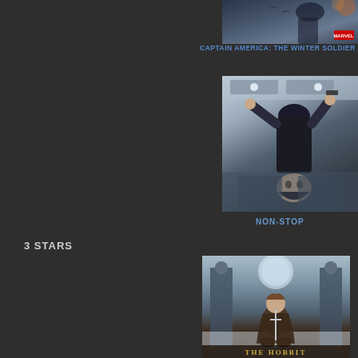[Figure (photo): Captain America: The Winter Soldier movie poster (partial, top portion showing action scene)]
CAPTAIN AMERICA: THE WINTER SOLDIER
[Figure (photo): Non-Stop movie poster showing figure upside down in action scene on airplane]
NON-STOP
3 STARS
[Figure (photo): The Hobbit movie poster showing a hobbit character sitting with a sword, fantasy castle entrance background with THE HOBBIT text at bottom]